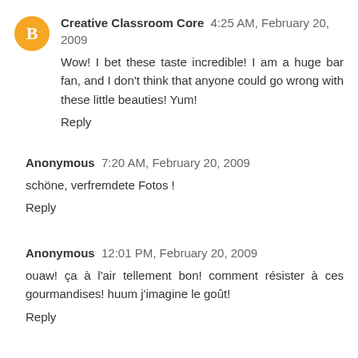Creative Classroom Core  4:25 AM, February 20, 2009
Wow! I bet these taste incredible! I am a huge bar fan, and I don't think that anyone could go wrong with these little beauties! Yum!
Reply
Anonymous  7:20 AM, February 20, 2009
schöne, verfremdete Fotos !
Reply
Anonymous  12:01 PM, February 20, 2009
ouaw! ça à l'air tellement bon! comment résister à ces gourmandises! huum j'imagine le goût!
Reply